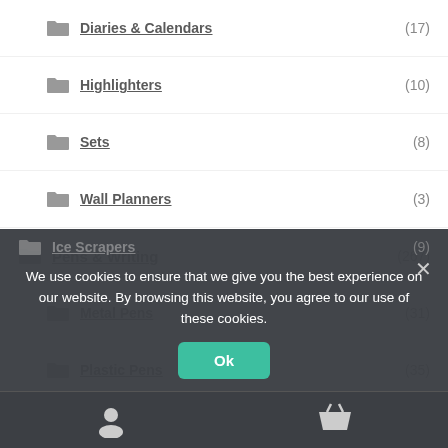Diaries & Calendars (17)
Highlighters (10)
Sets (8)
Wall Planners (3)
Pens & Writing (267)
Metal Pens (31)
Plastic Pens (35)
Personal Protection (15)
Practical (70)
Ice Scrapers (9)
We use cookies to ensure that we give you the best experience on our website. By browsing this website, you agree to our use of these cookies.